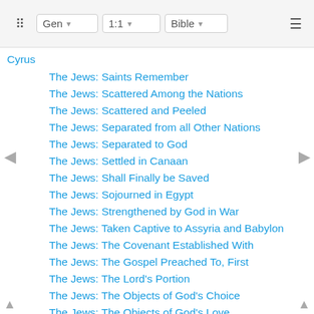Gen  1:1  Bible
Cyrus
The Jews: Saints Remember
The Jews: Scattered Among the Nations
The Jews: Scattered and Peeled
The Jews: Separated from all Other Nations
The Jews: Separated to God
The Jews: Settled in Canaan
The Jews: Shall Finally be Saved
The Jews: Sojourned in Egypt
The Jews: Strengthened by God in War
The Jews: Taken Captive to Assyria and Babylon
The Jews: The Covenant Established With
The Jews: The Gospel Preached To, First
The Jews: The Lord's Portion
The Jews: The Objects of God's Choice
The Jews: The Objects of God's Love